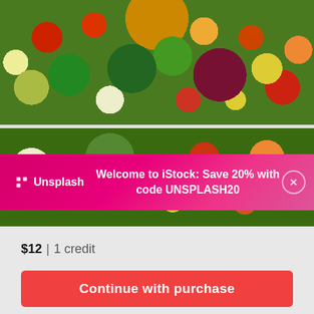[Figure (photo): Colorful assorted fresh vegetables spread out including brussels sprouts, tomatoes, carrots, green beans, red onion, mushrooms, cabbage, fennel, radishes, peppers and more]
[Figure (photo): Second colorful assorted fresh vegetables photo with cauliflower, broccoli, green vegetables, tomatoes, and orange/yellow produce]
Unsplash Welcome to iStock: Save 20% with code UNSPLASH20
$12 | 1 credit
Continue with purchase